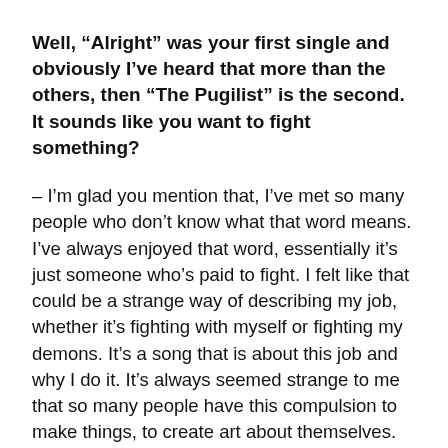Well, “Alright” was your first single and obviously I’ve heard that more than the others, then “The Pugilist” is the second. It sounds like you want to fight something?
– I’m glad you mention that, I’ve met so many people who don’t know what that word means. I’ve always enjoyed that word, essentially it’s just someone who’s paid to fight. I felt like that could be a strange way of describing my job, whether it’s fighting with myself or fighting my demons. It’s a song that is about this job and why I do it. It’s always seemed strange to me that so many people have this compulsion to make things, to create art about themselves. Writing the song I started singing this line “Don’t forget me” over and over again and then realized it’s the best way to describe it. A manic, obsessive feeling